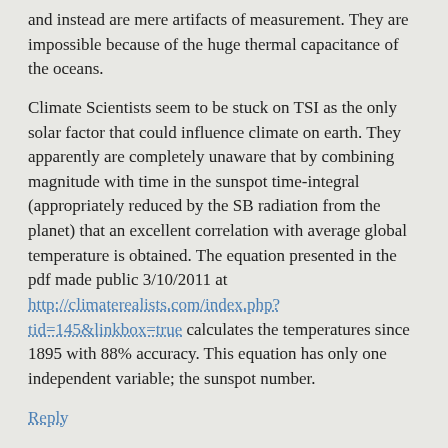and instead are mere artifacts of measurement. They are impossible because of the huge thermal capacitance of the oceans.
Climate Scientists seem to be stuck on TSI as the only solar factor that could influence climate on earth. They apparently are completely unaware that by combining magnitude with time in the sunspot time-integral (appropriately reduced by the SB radiation from the planet) that an excellent correlation with average global temperature is obtained. The equation presented in the pdf made public 3/10/2011 at http://climaterealists.com/index.php?tid=145&linkbox=true calculates the temperatures since 1895 with 88% accuracy. This equation has only one independent variable; the sunspot number.
Reply
robert barclay
September 11, 2011
Could somebody with a scientific background check